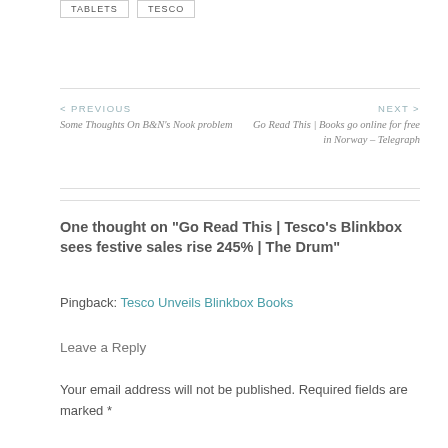TABLETS
TESCO
< PREVIOUS
Some Thoughts On B&N's Nook problem
NEXT >
Go Read This | Books go online for free in Norway – Telegraph
One thought on "Go Read This | Tesco's Blinkbox sees festive sales rise 245% | The Drum"
Pingback: Tesco Unveils Blinkbox Books
Leave a Reply
Your email address will not be published. Required fields are marked *